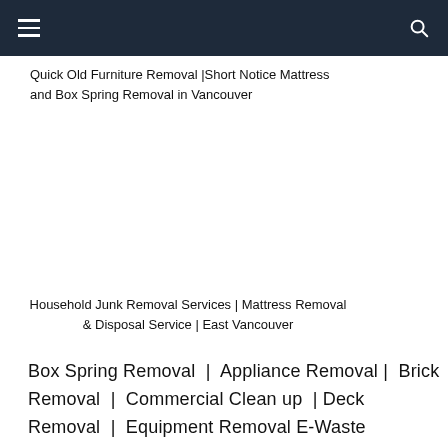navigation bar with hamburger menu and search icon
Quick Old Furniture Removal |Short Notice Mattress and Box Spring Removal in Vancouver
Household Junk Removal Services | Mattress Removal & Disposal Service | East Vancouver
Box Spring Removal | Appliance Removal | Brick Removal | Commercial Clean up | Deck Removal | Equipment Removal E-Waste Removal | Furniture Removal |